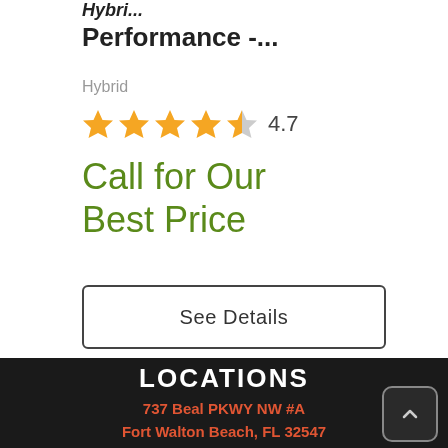Hybrid Performance -...
Hybrid
[Figure (other): Star rating: 4 filled stars, 1 half star, rating 4.7]
Call for Our Best Price
See Details
LOCATIONS
737 Beal PKWY NW #A
Fort Walton Beach, FL 32547